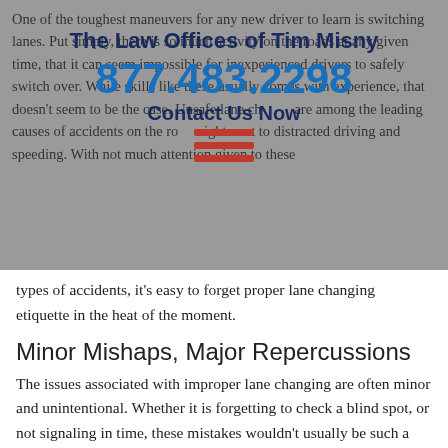One of the toughest maneuvers for any new driver to learn is switching lanes. Put simply, there is so much activity on the roads at any given time, that it can seem impossible for inexperienced drivers to safely switch over. While skills like these usually comes with experience, that doesn't seem to be the case. Unsafe lane changes are among the leading causes of accidents on the road, right next to distracted driving and speeding. With not much attention given to these types of accidents, it's easy to forget proper lane changing etiquette in the heat of the moment.
[Figure (infographic): Law office contact overlay with firm name 'The Law Offices of Tim Misny', phone number '877.483.2298', 'Contact Us Now' text, and a red hamburger/equals menu icon]
Minor Mishaps, Major Repercussions
The issues associated with improper lane changing are often minor and unintentional. Whether it is forgetting to check a blind spot, or not signaling in time, these mistakes wouldn't usually be such a big deal. In the heat of heavy traffic, however they can be deadly.